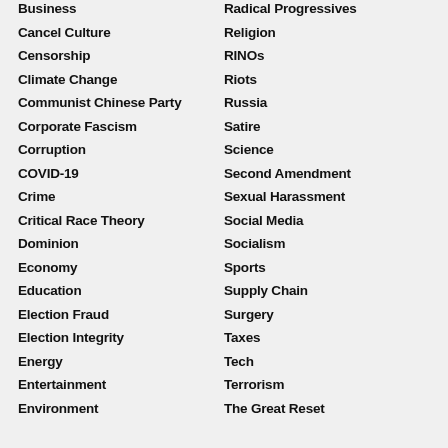Business
Radical Progressives
Cancel Culture
Religion
Censorship
RINOs
Climate Change
Riots
Communist Chinese Party
Russia
Corporate Fascism
Satire
Corruption
Science
COVID-19
Second Amendment
Crime
Sexual Harassment
Critical Race Theory
Social Media
Dominion
Socialism
Economy
Sports
Education
Supply Chain
Election Fraud
Surgery
Election Integrity
Taxes
Energy
Tech
Entertainment
Terrorism
Environment
The Great Reset